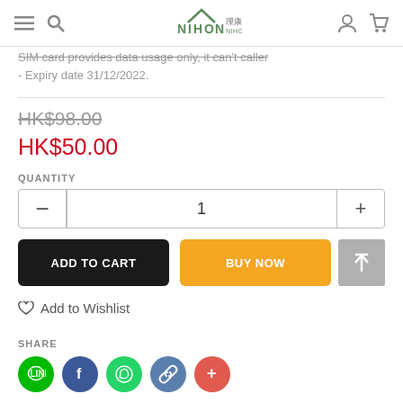NIHON 理康生活百貨 NIHON LIVING
SIM card provides data usage only, it can't caller
- Expiry date 31/12/2022.
HK$98.00 (strikethrough original price)
HK$50.00 (sale price)
QUANTITY
- 1 +
ADD TO CART
BUY NOW
♡ Add to Wishlist
SHARE
Line, Facebook, WhatsApp, Copy Link, More social share icons